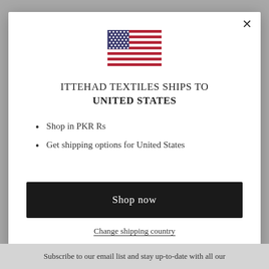[Figure (illustration): United States flag icon]
ITTEHAD TEXTILES SHIPS TO UNITED STATES
Shop in PKR Rs
Get shipping options for United States
Shop now
Change shipping country
Subscribe to our email list and stay up-to-date with all our